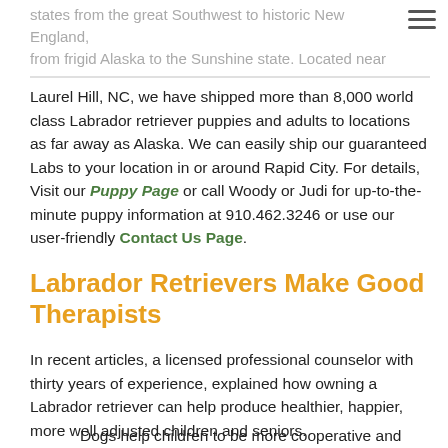states from the great Southwest to historic New England, from frigid Alaska to the Sunshine state. Located near
Laurel Hill, NC, we have shipped more than 8,000 world class Labrador retriever puppies and adults to locations as far away as Alaska. We can easily ship our guaranteed Labs to your location in or around Rapid City. For details, Visit our Puppy Page or call Woody or Judi for up-to-the-minute puppy information at 910.462.3246 or use our user-friendly Contact Us Page.
Labrador Retrievers Make Good Therapists
In recent articles, a licensed professional counselor with thirty years of experience, explained how owning a Labrador retriever can help produce healthier, happier, more well adjusted children and seniors.
Dogs help children to be more cooperative and